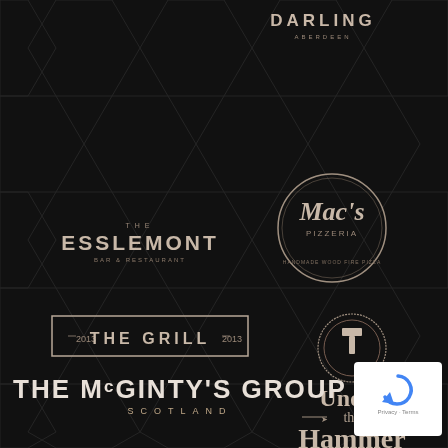[Figure (logo): DARLING ABERDEEN restaurant logo in light beige/tan text on dark background]
[Figure (logo): THE ESSLEMONT Bar & Restaurant logo in beige text on dark background]
[Figure (logo): Mac's Pizzeria circular logo with script text in a circle outline]
[Figure (logo): THE GRILL logo in bordered rectangle with decorative elements]
[Figure (logo): Under the Hammer logo with circular emblem and decorative text]
[Figure (logo): THE McGINTY'S GROUP SCOTLAND logo in white/cream text at bottom]
[Figure (logo): Google reCAPTCHA badge in white box bottom right]